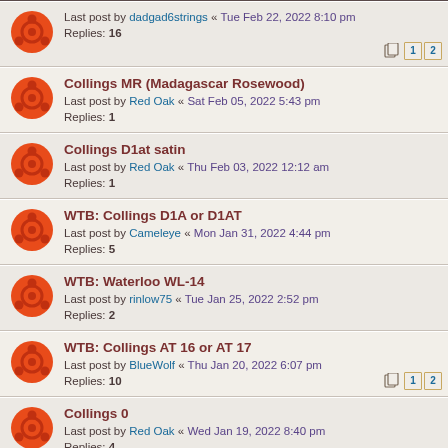Last post by dadgad6strings « Tue Feb 22, 2022 8:10 pm
Replies: 16
Pages: 1 2
Collings MR (Madagascar Rosewood)
Last post by Red Oak « Sat Feb 05, 2022 5:43 pm
Replies: 1
Collings D1at satin
Last post by Red Oak « Thu Feb 03, 2022 12:12 am
Replies: 1
WTB: Collings D1A or D1AT
Last post by Cameleye « Mon Jan 31, 2022 4:44 pm
Replies: 5
WTB: Waterloo WL-14
Last post by rinlow75 « Tue Jan 25, 2022 2:52 pm
Replies: 2
WTB: Collings AT 16 or AT 17
Last post by BlueWolf « Thu Jan 20, 2022 6:07 pm
Replies: 10
Pages: 1 2
Collings 0
Last post by Red Oak « Wed Jan 19, 2022 8:40 pm
Replies: 4
WTB: Waterloo wl-s deluxe
Last post by Red Oak « Wed Jan 05, 2022 6:43 pm
Replies: 1
Wandted To Trade: Lefty C10 Deluxe SP for OO or O